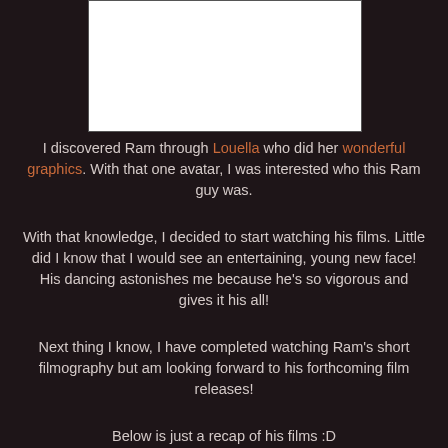[Figure (photo): White rectangular image placeholder on dark background]
I discovered Ram through Louella who did her wonderful graphics. With that one avatar, I was interested who this Ram guy was.
With that knowledge, I decided to start watching his films. Little did I know that I would see an entertaining, young new face! His dancing astonishes me because he's so vigorous and gives it his all!
Next thing I know, I have completed watching Ram's short filmography but am looking forward to his forthcoming film releases!
Below is just a recap of his films :D